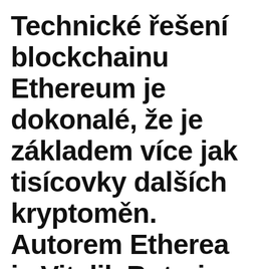Technické řešení blockchainu Ethereum je dokonalé, že je základem více jak tisícovky dalších kryptoměn. Autorem Etherea je Vitalik Buterin, který koncept poprvé popsal ke konci roku 2013, spolu s